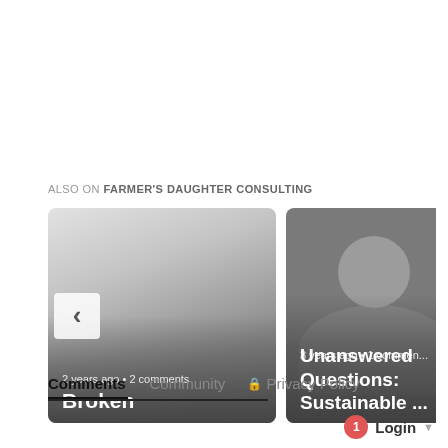ALSO ON FARMER'S DAUGHTER CONSULTING
[Figure (screenshot): Two article cards in a carousel. Left card shows gradient background with nav arrow left button, text '2 years ago • 2 comments' and title 'Broken'. Right card shows gray illustrated avatar background with '3 years ago • 1 comment' and title 'Unanswered Questions: Sustainable ...' plus right nav arrow.]
Comments   Community   Privacy Policy
1  Login